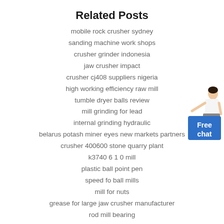Related Posts
mobile rock crusher sydney
sanding machine work shops
crusher grinder indonesia
jaw crusher impact
crusher cj408 suppliers nigeria
high working efficiency raw mill
tumble dryer balls review
mill grinding for lead
internal grinding hydraulic
belarus potash miner eyes new markets partners
crusher 400600 stone quarry plant
k3740 6 1 0 mill
plastic ball point pen
speed fo ball mills
mill for nuts
grease for large jaw crusher manufacturer
rod mill bearing
operation talc raymond mill
[Figure (illustration): A figure of a person in white shirt with a blue 'Free chat' button overlay in the bottom right corner of the page]